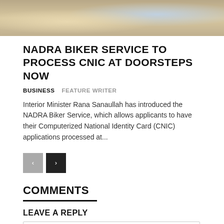[Figure (photo): Partial photo of people in traditional/formal attire at an event, showing lower portion of figures against a decorative background]
NADRA BIKER SERVICE TO PROCESS CNIC AT DOORSTEPS NOW
BUSINESS   FEATURE WRITER
Interior Minister Rana Sanaullah has introduced the NADRA Biker Service, which allows applicants to have their Computerized National Identity Card (CNIC) applications processed at...
COMMENTS
LEAVE A REPLY
Comment: